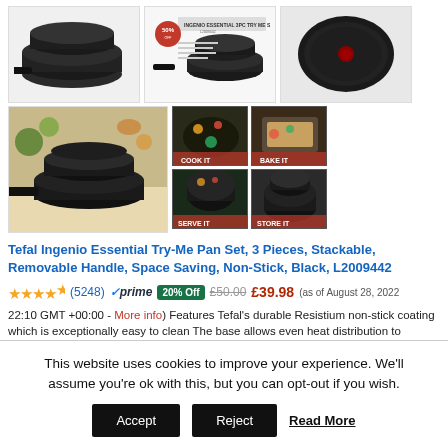[Figure (photo): Three product photos of Tefal Ingenio pan set at top: left shows two pans stacked with handle, center shows product packaging/promotional image with '3PC TRY ME SET', right shows single round black pan from above]
[Figure (photo): Four product photos in grid at bottom-left: larger photo of stackable pans with vegetables, and four smaller lifestyle shots showing cooking, baking, and storing uses]
Tefal Ingenio Essential Try-Me Pan Set, 3 Pieces, Stackable, Removable Handle, Space Saving, Non-Stick, Black, L2009442
4.5 stars (5248) prime 20% Off £50.00 £39.98 (as of August 28, 2022 22:10 GMT +00:00 - More info) Features Tefal's durable Resistium non-stick coating which is exceptionally easy to clean The base allows even heat distribution to
This website uses cookies to improve your experience. We'll assume you're ok with this, but you can opt-out if you wish. Accept Reject Read More